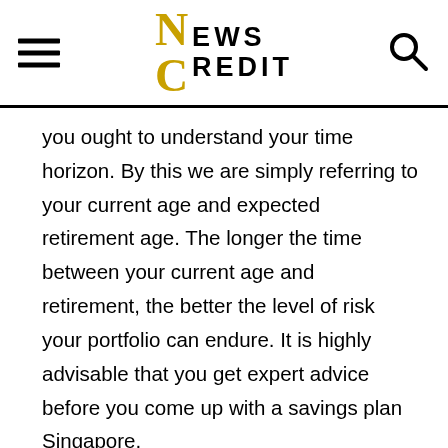NEWS CREDIT
you ought to understand your time horizon. By this we are simply referring to your current age and expected retirement age. The longer the time between your current age and retirement, the better the level of risk your portfolio can endure. It is highly advisable that you get expert advice before you come up with a savings plan Singapore.